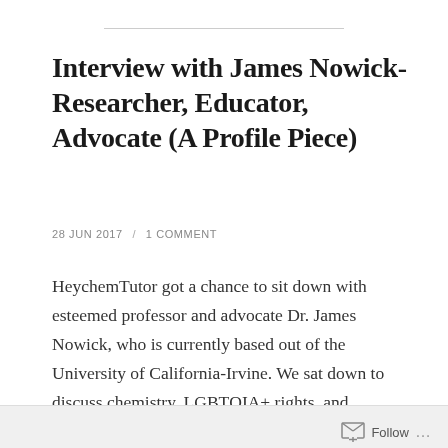Interview with James Nowick- Researcher, Educator, Advocate (A Profile Piece)
28 JUN 2017 / 1 COMMENT
HeychemTutor got a chance to sit down with esteemed professor and advocate Dr. James Nowick, who is currently based out of the University of California-Irvine. We sat down to discuss chemistry, LGBTQIA+ rights, and advocacy. This was a project Heychem set in celebration of June 2017 Pride month. ~~Interview Start~~ HeyChem: How did you first … Continue reading
Follow